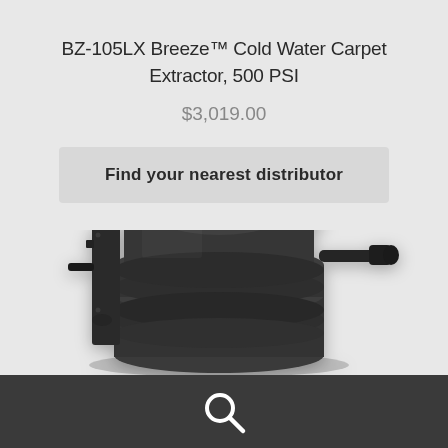BZ-105LX Breeze™ Cold Water Carpet Extractor, 500 PSI
$3,019.00
Find your nearest distributor
[Figure (photo): Industrial black cold water carpet extractor machine component, BZ-105LX Breeze, showing stacked cylindrical body with nozzle fittings, viewed from bottom-up angle against light gray background]
[Figure (other): Search magnifying glass icon in white on dark gray footer bar]